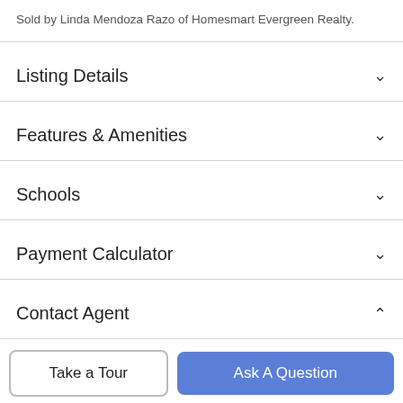Sold by Linda Mendoza Razo of Homesmart Evergreen Realty.
Listing Details
Features & Amenities
Schools
Payment Calculator
Contact Agent
[Figure (photo): Circular profile photo of a woman with curly blonde hair]
Take a Tour
Ask A Question